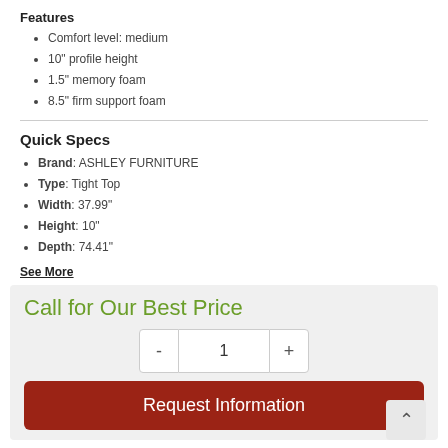Features
Comfort level: medium
10" profile height
1.5" memory foam
8.5" firm support foam
Quick Specs
Brand: ASHLEY FURNITURE
Type: Tight Top
Width: 37.99"
Height: 10"
Depth: 74.41"
See More
Call for Our Best Price
1
Request Information